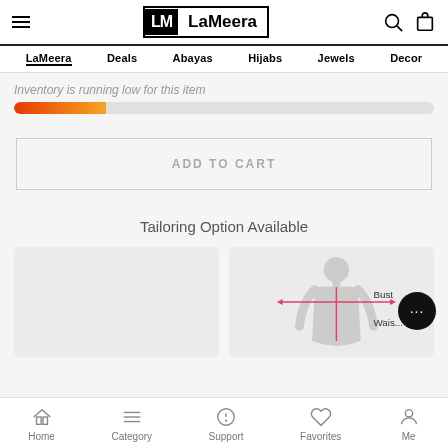LaMeera — LaMeera | Deals | Abayas | Hijabs | Jewels | Decor
Inventory is running low for this item
[Figure (infographic): A horizontal progress bar showing low inventory, filled about 22% with a red-to-yellow gradient, rest grey]
ADD TO CART
Tailoring Option Available
[Figure (illustration): Two tailoring option cards side by side; left card is blank/empty, right card shows a female figure outline with bust measurement lines labeled 'Bust' and a partially visible 'Waist' label]
Home | Category | Support | Favorites | Me